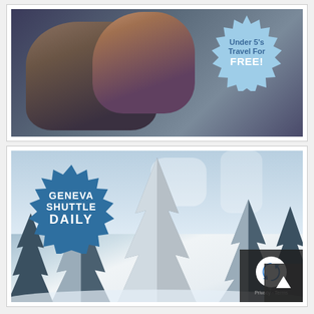[Figure (photo): Two children in a car with a light blue spiky starburst badge reading 'Under 5's Travel For FREE!']
[Figure (photo): Snowy mountain pine trees with a dark blue spiky starburst badge reading 'GENEVA SHUTTLE DAILY']